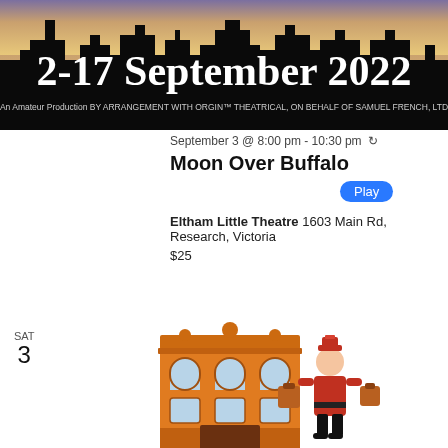[Figure (illustration): Black banner with city skyline silhouette and text '2-17 September 2022' in large white serif font, with subtitle 'An Amateur Production BY ARRANGEMENT WITH ORGIN™ THEATRICAL, ON BEHALF OF SAMUEL FRENCH, LTD']
September 3 @ 8:00 pm - 10:30 pm ↻
Moon Over Buffalo
Play
Eltham Little Theatre 1603 Main Rd, Research, Victoria
$25
SAT
3
[Figure (illustration): Cartoon illustration of an orange ornate theatre building with arched windows and a cartoon bellhop character carrying luggage bags standing beside it]
September 3 @ 8:00 pm - 10:30 pm ↻
A Flea In Her Ear